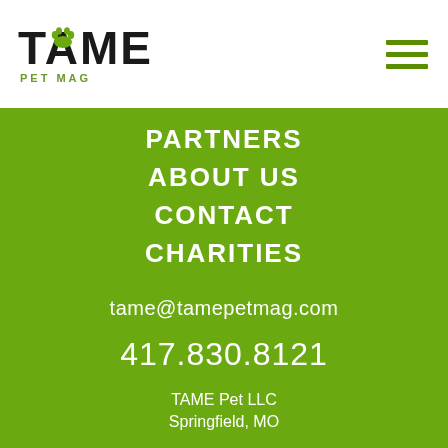[Figure (logo): TAME Pet Mag logo with paw print icon inside the letter A]
PARTNERS
ABOUT US
CONTACT
CHARITIES
tame@tamepetmag.com
417.830.8121
TAME Pet LLC
Springfield, MO